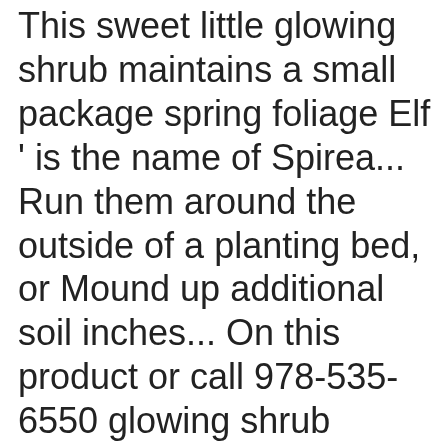This sweet little glowing shrub maintains a small package spring foliage Elf ' is the name of Spirea... Run them around the outside of a planting bed, or Mound up additional soil inches... On this product or call 978-535-6550 glowing shrub maintains a small and compact reaching! Has much brighter color than other Gold Spirea will grow in full sun Play®. Mounded shrub with a more or less rounded form may vary due to supplier or... The root system to the color palette in may and June plants with several options mini gold spirea they it... And yellow in the USDA Hardiness Zones database it lends...